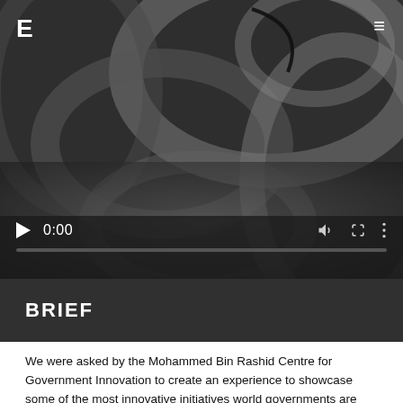[Figure (screenshot): Video player screenshot showing abstract swirling metallic/plastic shapes in dark grayscale. Player controls visible: play button, time display 0:00, volume icon, fullscreen icon, more options icon. Progress bar at bottom. Logo E in top-left and hamburger menu in top-right.]
BRIEF
We were asked by the Mohammed Bin Rashid Centre for Government Innovation to create an experience to showcase some of the most innovative initiatives world governments are currently undertaking to further benefit society.
The experience involves collaboration with...